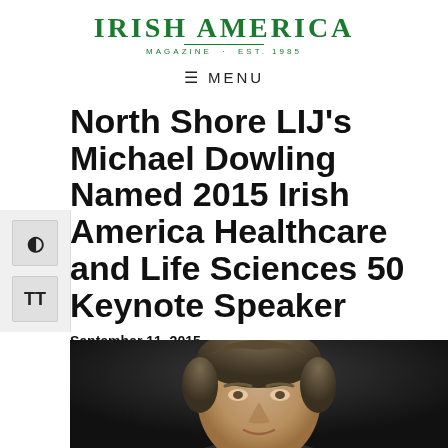IRISH AMERICA MAGAZINE · EST. 1985
≡ MENU
North Shore LIJ's Michael Dowling Named 2015 Irish America Healthcare and Life Sciences 50 Keynote Speaker
September 11, 2015
[Figure (photo): Portrait photograph of Michael Dowling, a man with grey-brown hair against a dark background]